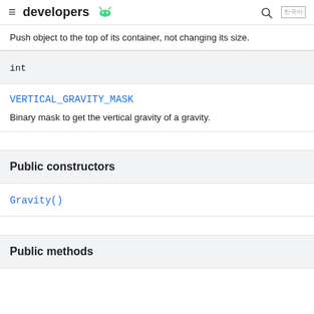developers
Push object to the top of its container, not changing its size.
int
VERTICAL_GRAVITY_MASK
Binary mask to get the vertical gravity of a gravity.
Public constructors
Gravity()
Public methods